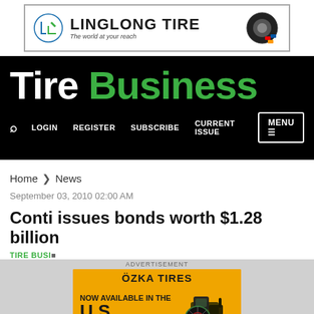[Figure (logo): LingLong Tire advertisement banner with logo, name, tagline 'The world at your reach', and tire image]
TIRE BUSINESS — with LOGIN, REGISTER, SUBSCRIBE, CURRENT ISSUE navigation and MENU button
Home > News
September 03, 2010 02:00 AM
Conti issues bonds worth $1.28 billion
TIRE BUSI...
ADVERTISEMENT
[Figure (photo): ÖZKA TIRES advertisement — NOW AVAILABLE IN THE U.S. — orange background with tractor image]